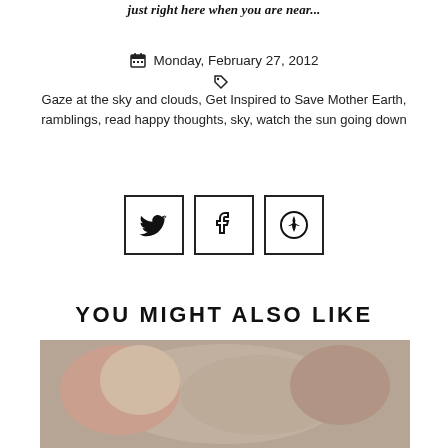just right here when you are near...
Monday, February 27, 2012
Gaze at the sky and clouds, Get Inspired to Save Mother Earth, ramblings, read happy thoughts, sky, watch the sun going down
[Figure (other): Three social media share buttons: Twitter, Facebook, Pinterest]
YOU MIGHT ALSO LIKE
[Figure (photo): Close-up photo of a sleeping newborn baby wearing a blue knit hat, being held by pink-fingernailed hands]